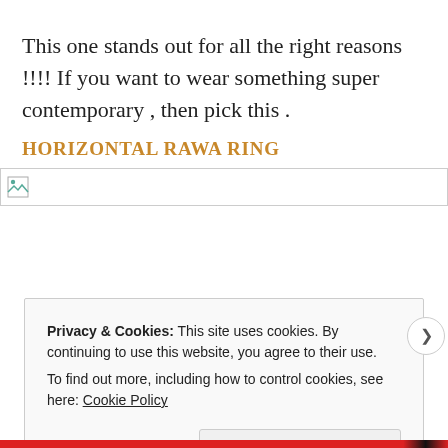This one stands out for all the right reasons !!!! If you want to wear something super contemporary , then pick this .
HORIZONTAL RAWA RING
[Figure (photo): Broken image placeholder icon with a white/grey background bar]
Privacy & Cookies: This site uses cookies. By continuing to use this website, you agree to their use.
To find out more, including how to control cookies, see here: Cookie Policy